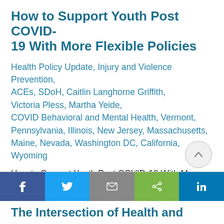How to Support Youth Post COVID-19 With More Flexible Policies
Health Policy Update, Injury and Violence Prevention, ACEs, SDoH, Caitlin Langhorne Griffith, Victoria Pless, Martha Yeide, COVID Behavioral and Mental Health, Vermont, Pennsylvania, Illinois, New Jersey, Massachusetts, Maine, Nevada, Washington DC, California, Wyoming
How to Support Youth Post COVID-19 With More Flexible Policies Caitlin Langhorne Griffith, Victoria Pless, Martha Yeide Over the past few months, COVID-19 has highlighted how current policies and ...
[Figure (other): Social share bar with Facebook, Twitter, email, share, and LinkedIn buttons]
The Intersection of Health and